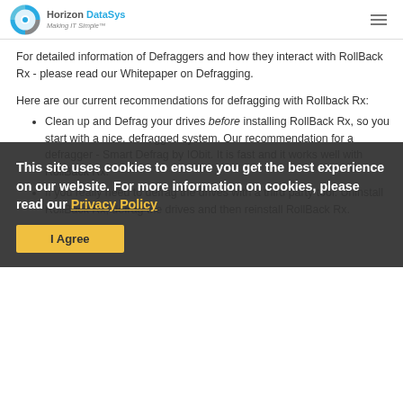Horizon DataSys - Making IT Simple
For detailed information of Defraggers and how they interact with RollBack Rx - please read our Whitepaper on Defragging.
Here are our current recommendations for defragging with Rollback Rx:
Clean up and Defrag your drives before installing RollBack Rx, so you start with a nice, defragged system. Our recommendation for a defragger - Smart Defrag by IObit. It is fast and it works well with RollBack Rx.
If you really need to defrag the drives with a third party tool: Uninstall RollBack Rx, defrag the drives and then reinstall RollBack Rx.
This site uses cookies to ensure you get the best experience on our website. For more information on cookies, please read our Privacy Policy
I Agree
If you come across any issue with the system and